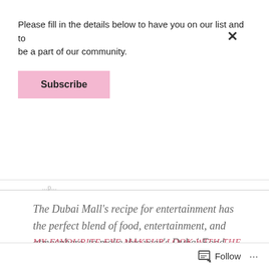Please fill in the details below to have you on our list and to be a part of our community.
Subscribe
The Dubai Mall’s recipe for entertainment has the perfect blend of food, entertainment, and atmosphere, to make this year’s Dubai Food Festival more delectable and memorable.
[Figure (infographic): Social action icons: comment bubble and share/link icon in a light grey bar]
MY FAVOURITE EYE MAKEUP LOOK WITH THE BOBBL PALETTE 💚
Follow
...